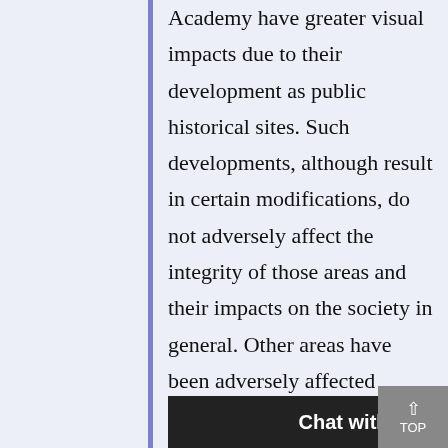Academy have greater visual impacts due to their development as public historical sites. Such developments, although result in certain modifications, do not adversely affect the integrity of those areas and their impacts on the society in general. Other areas have been adversely affected through small scale urban developments which result in the need for relocation of certain components of the sites when need fo... NICEF